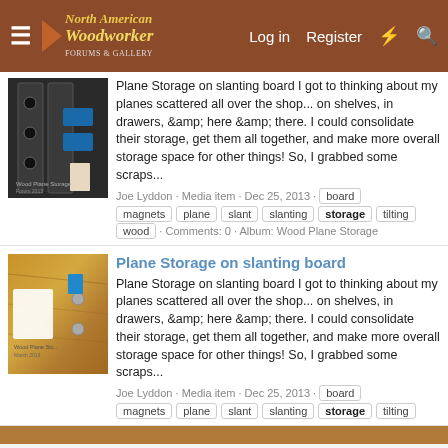North American Woodworker - Log in | Register
[Figure (screenshot): Thumbnail image of plane storage on metal slanted board with blue clamp visible]
Plane Storage on slanting board I got to thinking about my planes scattered all over the shop... on shelves, in drawers, &amp; here &amp; there. I could consolidate their storage, get them all together, and make more overall storage space for other things! So, I grabbed some scraps...
Joe Lyddon · Media item · Dec 25, 2013 · board · magnets · plane · slant · slanting · storage · tilting · wood · Comments: 0 · Album: Wood Plane Storage
Plane Storage on slanting board
[Figure (screenshot): Thumbnail image of plane storage on wooden slanting board, wood grain visible with text overlay]
Plane Storage on slanting board I got to thinking about my planes scattered all over the shop... on shelves, in drawers, &amp; here &amp; there. I could consolidate their storage, get them all together, and make more overall storage space for other things! So, I grabbed some scraps...
Joe Lyddon · Media item · Dec 25, 2013 · board · magnets · plane · slant · slanting · storage · tilting